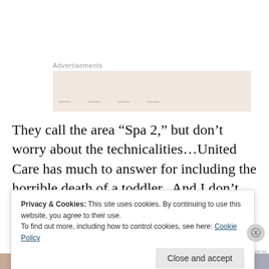Advertisements
[Figure (other): Advertisement placeholder box with blurred/obscured content]
They call the area “Spa 2,” but don’t worry about the technicalities…United Care has much to answer for including the horrible death of a toddler.  And I don’t want to diminish this travesty in any way.
Yet nobody, not the County, not the media, and certainly
Privacy & Cookies: This site uses cookies. By continuing to use this website, you agree to their use.
To find out more, including how to control cookies, see here: Cookie Policy
Close and accept